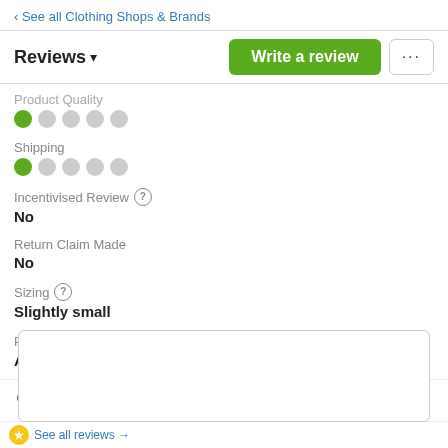‹ See all Clothing Shops & Brands
Reviews ▾  Write a review  ...
Product Quality
[Figure (other): Star/dot rating: 1 filled green dot out of 5 for Product Quality]
Shipping
[Figure (other): Star/dot rating: 1 filled green dot out of 5 for Shipping]
Incentivised Review ?
No
Return Claim Made
No
Sizing ?
Slightly small
Product Appearance ?
As advertised
1 like   Share   More